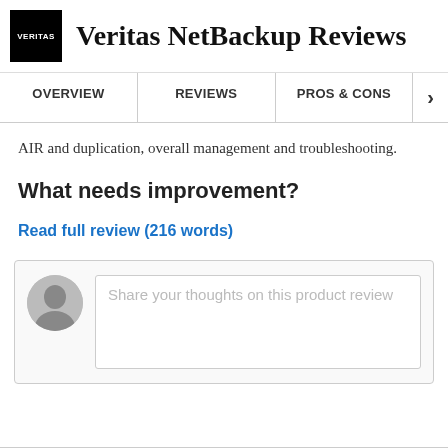Veritas NetBackup Reviews
OVERVIEW   REVIEWS   PROS & CONS
AIR and duplication, overall management and troubleshooting.
What needs improvement?
Read full review (216 words)
[Figure (other): User avatar placeholder with comment input box saying 'Share your thoughts on this product review']